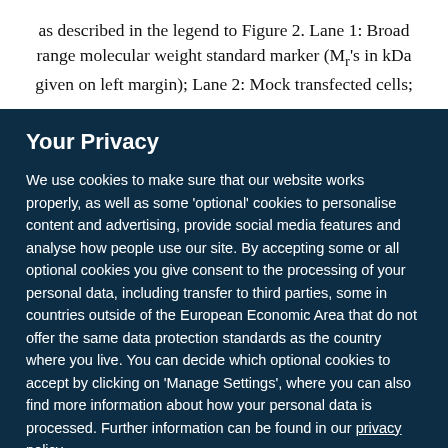as described in the legend to Figure 2. Lane 1: Broad range molecular weight standard marker (Mr's in kDa given on left margin); Lane 2: Mock transfected cells;
Your Privacy
We use cookies to make sure that our website works properly, as well as some 'optional' cookies to personalise content and advertising, provide social media features and analyse how people use our site. By accepting some or all optional cookies you give consent to the processing of your personal data, including transfer to third parties, some in countries outside of the European Economic Area that do not offer the same data protection standards as the country where you live. You can decide which optional cookies to accept by clicking on 'Manage Settings', where you can also find more information about how your personal data is processed. Further information can be found in our privacy policy.
Accept all cookies
Manage preferences